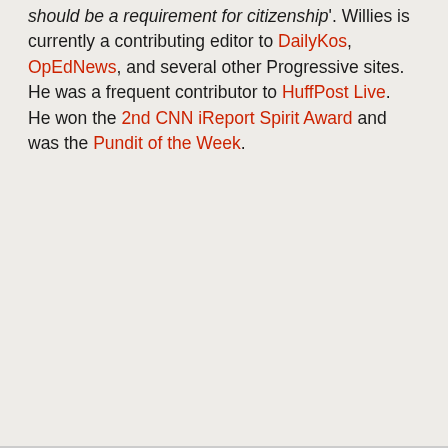should be a requirement for citizenship'. Willies is currently a contributing editor to DailyKos, OpEdNews, and several other Progressive sites. He was a frequent contributor to HuffPost Live. He won the 2nd CNN iReport Spirit Award and was the Pundit of the Week.